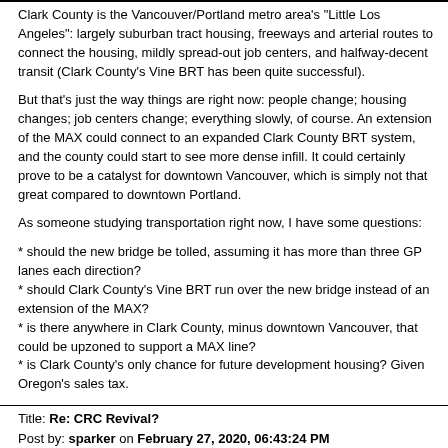Clark County is the Vancouver/Portland metro area's "Little Los Angeles": largely suburban tract housing, freeways and arterial routes to connect the housing, mildly spread-out job centers, and halfway-decent transit (Clark County's Vine BRT has been quite successful).
But that's just the way things are right now: people change; housing changes; job centers change; everything slowly, of course. An extension of the MAX could connect to an expanded Clark County BRT system, and the county could start to see more dense infill. It could certainly prove to be a catalyst for downtown Vancouver, which is simply not that great compared to downtown Portland.
As someone studying transportation right now, I have some questions:
* should the new bridge be tolled, assuming it has more than three GP lanes each direction?
* should Clark County's Vine BRT run over the new bridge instead of an extension of the MAX?
* is there anywhere in Clark County, minus downtown Vancouver, that could be upzoned to support a MAX line?
* is Clark County's only chance for future development housing? Given Oregon's sales tax.
Title: Re: CRC Revival?
Post by: sparker on February 27, 2020, 06:43:24 PM